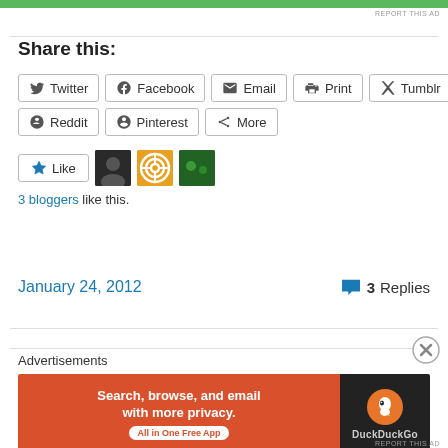[Figure (other): Green banner/ad bar at top]
REPORT THIS AD
Share this:
Twitter
Facebook
Email
Print
Tumblr
Reddit
Pinterest
More
3 bloggers like this.
January 24, 2012
3 Replies
Advertisements
[Figure (other): DuckDuckGo advertisement banner: Search, browse, and email with more privacy. All in One Free App. DuckDuckGo.]